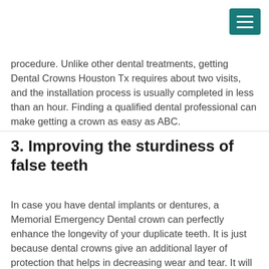[Figure (other): Hamburger menu button (teal/dark cyan square with three horizontal white lines)]
procedure. Unlike other dental treatments, getting Dental Crowns Houston Tx requires about two visits, and the installation process is usually completed in less than an hour. Finding a qualified dental professional can make getting a crown as easy as ABC.
3. Improving the sturdiness of false teeth
In case you have dental implants or dentures, a Memorial Emergency Dental crown can perfectly enhance the longevity of your duplicate teeth. It is just because dental crowns give an additional layer of protection that helps in decreasing wear and tear. It will assist your dentures to last longer as well as remain in